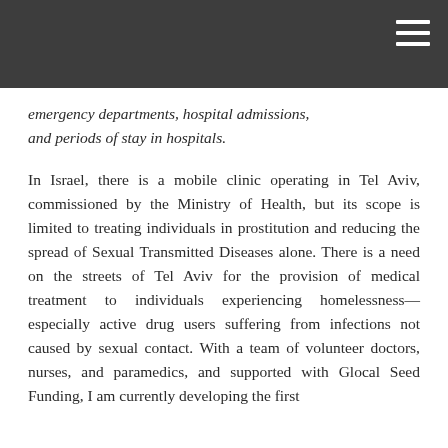emergency departments, hospital admissions, and periods of stay in hospitals.
In Israel, there is a mobile clinic operating in Tel Aviv, commissioned by the Ministry of Health, but its scope is limited to treating individuals in prostitution and reducing the spread of Sexual Transmitted Diseases alone. There is a need on the streets of Tel Aviv for the provision of medical treatment to individuals experiencing homelessness—especially active drug users suffering from infections not caused by sexual contact. With a team of volunteer doctors, nurses, and paramedics, and supported with Glocal Seed Funding, I am currently developing the first